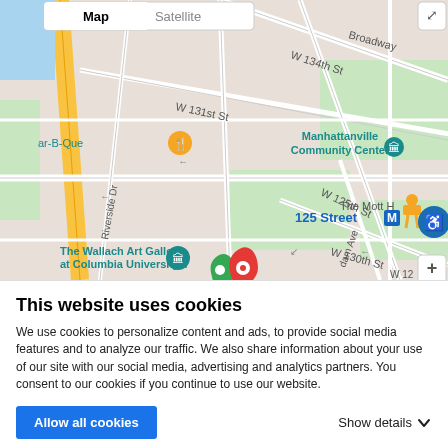[Figure (map): Google Maps screenshot showing West Harlem area of New York City. Visible streets include W 134th St, W 131st St, W 125th St, W 130th St, Broadway, Riverside Dr, and Amsterdam Ave. Landmarks shown include Manhattanville Community Center, The Wallach Art Gallery at Columbia University, TAL Climbing Gym - West Harlem, The Mott H[aven], and 125 Street subway station (M). Two map pins (red and green) mark a location. UI elements include Map/Satellite toggle, zoom plus button, Street View pegman, and accessibility icon.]
This website uses cookies
We use cookies to personalize content and ads, to provide social media features and to analyze our traffic. We also share information about your use of our site with our social media, advertising and analytics partners. You consent to our cookies if you continue to use our website.